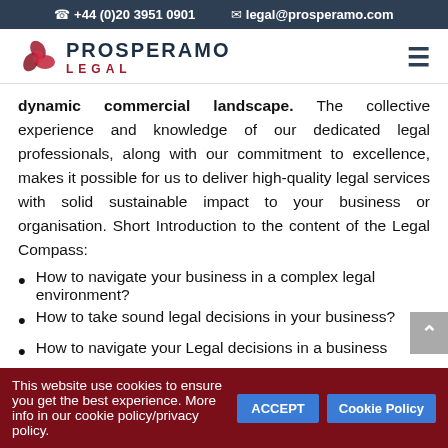+44 (0)20 3951 0901   legal@prosperamo.com
[Figure (logo): Prosperamo Legal logo with red geometric icon, brand name PROSPERAMO LEGAL]
dynamic commercial landscape. The collective experience and knowledge of our dedicated legal professionals, along with our commitment to excellence, makes it possible for us to deliver high-quality legal services with solid sustainable impact to your business or organisation. Short Introduction to the content of the Legal Compass:
How to navigate your business in a complex legal environment?
How to take sound legal decisions in your business?
How to navigate your Legal decisions in a business
This website use cookies to ensure you get the best experience. More info in our cookie policy/privacy policy. ACCEPT  Cookie Policy